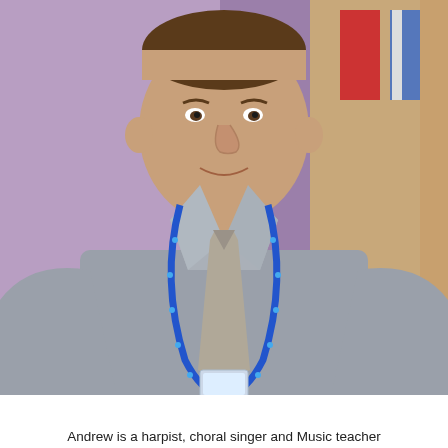[Figure (photo): A man wearing a grey shirt and grey tie with a blue lanyard around his neck, smiling, standing in front of a purple wall with coloured flags or banners visible in the background.]
Andrew is a harpist, choral singer and Music teacher